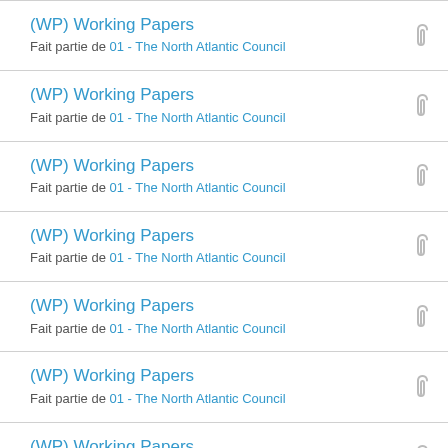(WP) Working Papers
Fait partie de 01 - The North Atlantic Council
(WP) Working Papers
Fait partie de 01 - The North Atlantic Council
(WP) Working Papers
Fait partie de 01 - The North Atlantic Council
(WP) Working Papers
Fait partie de 01 - The North Atlantic Council
(WP) Working Papers
Fait partie de 01 - The North Atlantic Council
(WP) Working Papers
Fait partie de 01 - The North Atlantic Council
(WP) Working Papers
Fait partie de 01 - The North Atlantic Council
(WP) Working Papers
Fait partie de 01 - The North Atlantic Council (partial)